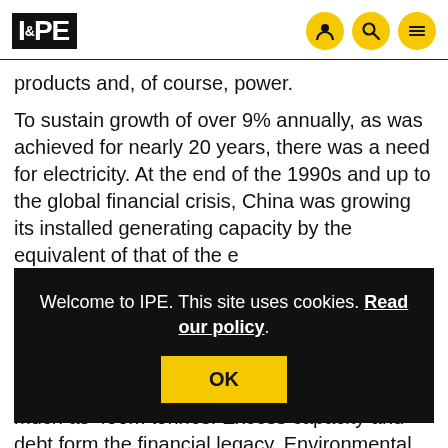IPE
products and, of course, power.
To sustain growth of over 9% annually, as was achieved for nearly 20 years, there was a need for electricity. At the end of the 1990s and up to the global financial crisis, China was growing its installed generating capacity by the equivalent of that of the e... b... b... p... e... of steel capacity exceeds its needs by perhaps as much as 400m tonnes. Excess capacity and debt form the financial legacy. Environmental damage to air and water quality is the other legacy.
Welcome to IPE. This site uses cookies. Read our policy.
OK